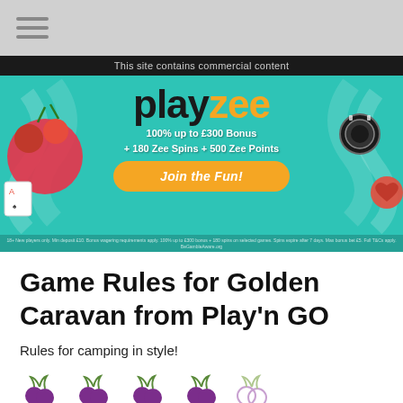☰ (navigation menu icon)
This site contains commercial content
[Figure (screenshot): PlayZee casino advertisement banner on teal background showing 'playzee' logo, '100% up to £300 Bonus + 180 Zee Spins + 500 Zee Points', a yellow 'Join the Fun!' button, and decorative casino elements (cherries, dice, poker chips, hearts).]
Game Rules for Golden Caravan from Play'n GO
Rules for camping in style!
[Figure (illustration): Five cherry icons in a row: four dark purple/filled cherries and one lighter/outline cherry, representing a rating of 4 out of 5.]